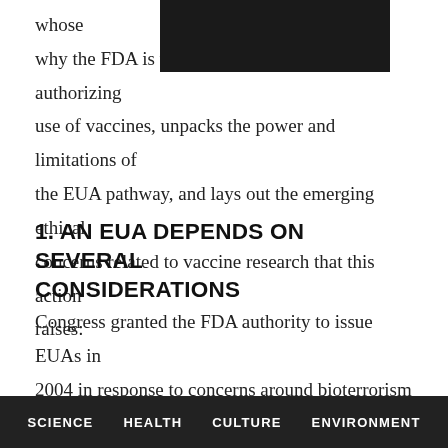whose [REDACTED] minates why the FDA is using this alternative route for authorizing use of vaccines, unpacks the power and limitations of the EUA pathway, and lays out the emerging ethical concerns related to vaccine research that this action raises:
1. AN EUA DEPENDS ON SEVERAL CONSIDERATIONS
Congress granted the FDA authority to issue EUAs in 2004 in response to concerns around bioterrorism and anthrax, says Fernandez Lynch. As the name suggests, an EUA may be issued only following the federal declaration of an emergency stemming from a chemical,
SCIENCE   HEALTH   CULTURE   ENVIRONMENT